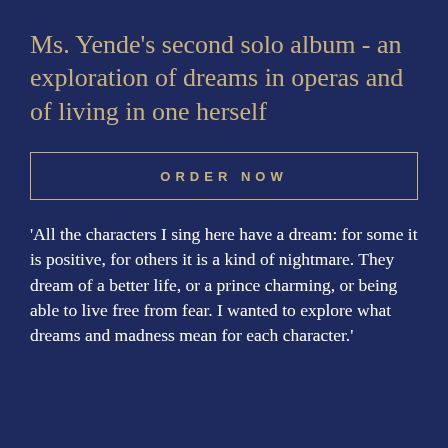Ms. Yende's second solo album - an exploration of dreams in operas and of living in one herself
ORDER NOW
'All the characters I sing here have a dream: for some it is positive, for others it is a kind of nightmare. They dream of a better life, or a prince charming, or being able to live free from fear. I wanted to explore what dreams and madness mean for each character.'